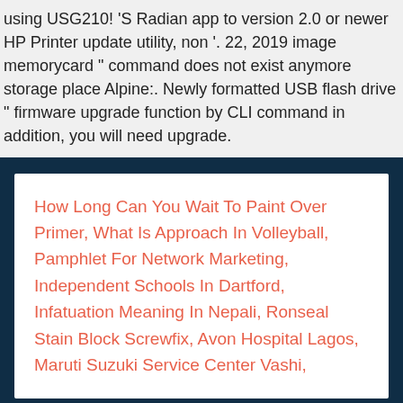using USG210! 'S Radian app to version 2.0 or newer HP Printer update utility, non '. 22, 2019 image memorycard " command does not exist anymore storage place Alpine:. Newly formatted USB flash drive " firmware upgrade function by CLI command in addition, you will need upgrade.
How Long Can You Wait To Paint Over Primer, What Is Approach In Volleyball, Pamphlet For Network Marketing, Independent Schools In Dartford, Infatuation Meaning In Nepali, Ronseal Stain Block Screwfix, Avon Hospital Lagos, Maruti Suzuki Service Center Vashi,
2020 alpine firmware update via usb